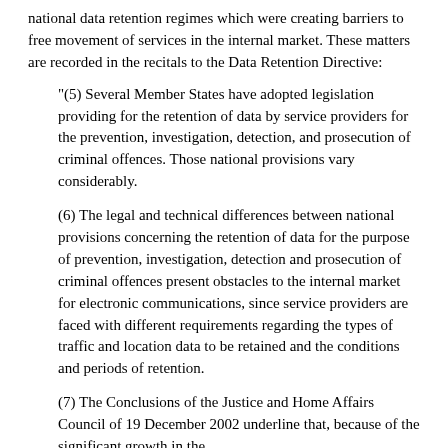national data retention regimes which were creating barriers to free movement of services in the internal market. These matters are recorded in the recitals to the Data Retention Directive:
"(5) Several Member States have adopted legislation providing for the retention of data by service providers for the prevention, investigation, detection, and prosecution of criminal offences. Those national provisions vary considerably.
(6) The legal and technical differences between national provisions concerning the retention of data for the purpose of prevention, investigation, detection and prosecution of criminal offences present obstacles to the internal market for electronic communications, since service providers are faced with different requirements regarding the types of traffic and location data to be retained and the conditions and periods of retention.
(7) The Conclusions of the Justice and Home Affairs Council of 19 December 2002 underline that, because of the significant growth in the